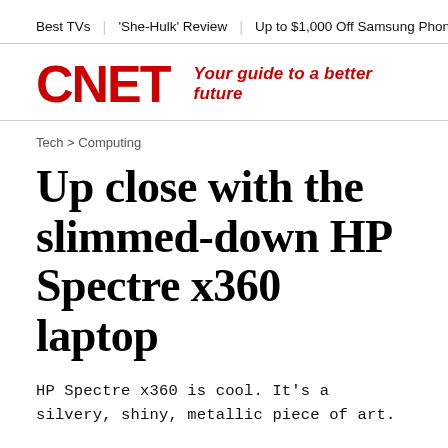Best TVs  |  'She-Hulk' Review  |  Up to $1,000 Off Samsung Phones  |  B
[Figure (logo): CNET logo in red bold text with tagline 'Your guide to a better future' in red italic]
Tech > Computing
Up close with the slimmed-down HP Spectre x360 laptop
HP Spectre x360 is cool. It's a silvery, shiny, metallic piece of art.